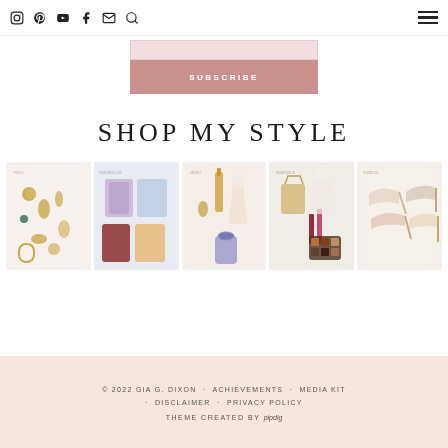Social media icons: Instagram, Pinterest, YouTube, Facebook, Email, Search; Hamburger menu
[Figure (screenshot): Subscribe button with input field, mauve/rose color]
SHOP MY STYLE
[Figure (photo): Grid of 5 fashion/style collage images showing jewelry, clothing, beauty products, dresses, and shoes]
© 2022 GIA G. DIXON · ACHIEVEMENTS · MEDIA KIT · DISCLAIMER · PRIVACY POLICY THEME CREATED BY pipdig